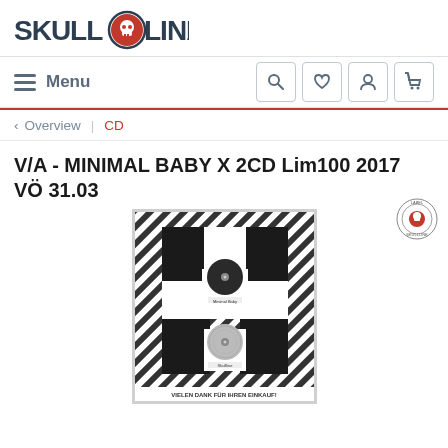[Figure (logo): Skullline.de logo with skull icon]
Menu
[Figure (other): Navigation icons: search, heart/wishlist, user, cart]
< Overview | CD
V/A - MINIMAL BABY X 2CD Lim100 2017 VÖ 31.03
[Figure (logo): Small circular label logo (Skullline)]
[Figure (photo): CD album cover for Minimal Baby X - black and white diagonal striped pattern with large X shape formed by black blocks, two CD discs visible, text at bottom: VIELEN DANK FÜR IHREN EINKAUF!]